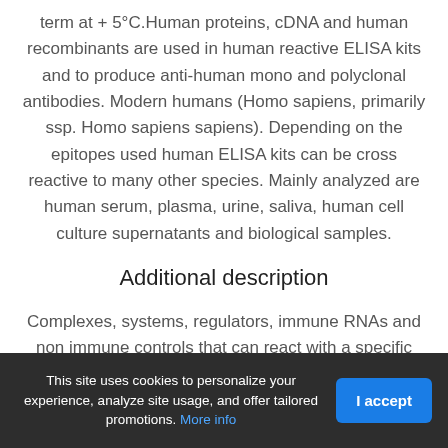term at + 5°C.Human proteins, cDNA and human recombinants are used in human reactive ELISA kits and to produce anti-human mono and polyclonal antibodies. Modern humans (Homo sapiens, primarily ssp. Homo sapiens sapiens). Depending on the epitopes used human ELISA kits can be cross reactive to many other species. Mainly analyzed are human serum, plasma, urine, saliva, human cell culture supernatants and biological samples.
Additional description
Complexes, systems, regulators, immune RNAs and non immune controls that can react with a specific antigen epitope.The
This site uses cookies to personalize your experience, analyze site usage, and offer tailored promotions. More info